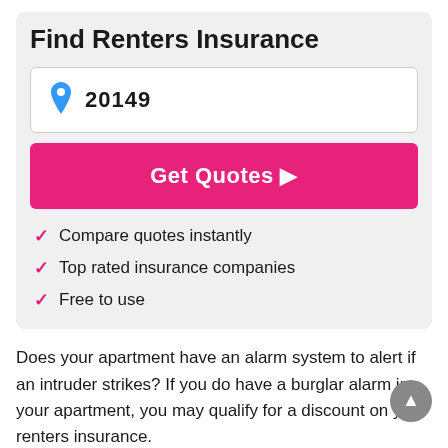Find Renters Insurance
20149
Get Quotes ▶
Compare quotes instantly
Top rated insurance companies
Free to use
Does your apartment have an alarm system to alert if an intruder strikes? If you do have a burglar alarm in your apartment, you may qualify for a discount on your renters insurance.